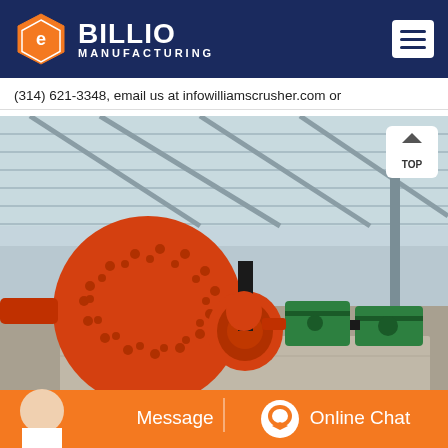[Figure (logo): Billio Manufacturing logo with orange hexagon icon and white text on dark blue background header]
(314) 621-3348, email us at infowilliamscrusher.com or
[Figure (photo): Industrial ball mill machine in orange color inside a steel-roofed warehouse facility, with green and orange motor components on the right side. A 'TOP' navigation button overlay is visible in the upper right of the image. An orange CTA bar at the bottom shows 'Message' on the left and 'Online Chat' on the right with a chat icon.]